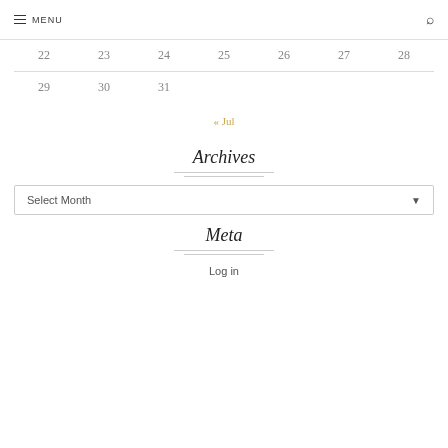MENU
| 22 | 23 | 24 | 25 | 26 | 27 | 28 |
| 29 | 30 | 31 |  |  |  |  |
« Jul
Archives
Select Month
Meta
Log in